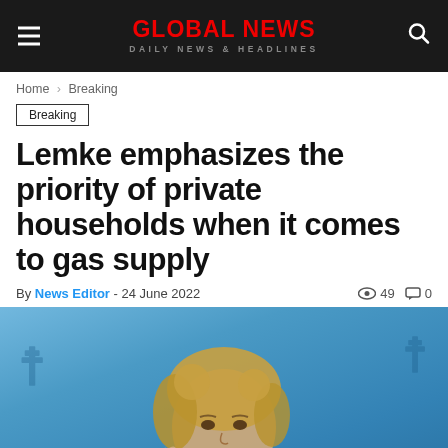GLOBAL NEWS — DAILY NEWS & HEADLINES
Home › Breaking
Breaking
Lemke emphasizes the priority of private households when it comes to gas supply
By News Editor - 24 June 2022  👁 49  💬 0
[Figure (photo): Photo of a woman with blonde curly hair speaking at a press conference, blue background with German federal eagle emblems]